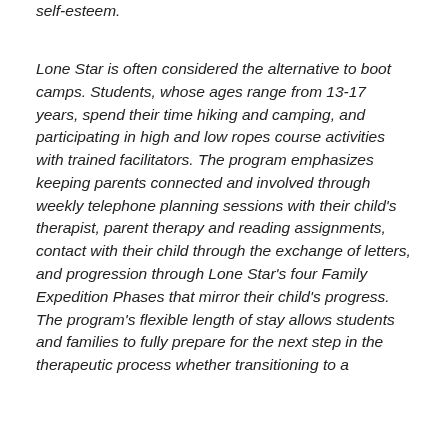self-esteem.
Lone Star is often considered the alternative to boot camps. Students, whose ages range from 13-17 years, spend their time hiking and camping, and participating in high and low ropes course activities with trained facilitators. The program emphasizes keeping parents connected and involved through weekly telephone planning sessions with their child's therapist, parent therapy and reading assignments, contact with their child through the exchange of letters, and progression through Lone Star's four Family Expedition Phases that mirror their child's progress. The program's flexible length of stay allows students and families to fully prepare for the next step in the therapeutic process whether transitioning to a